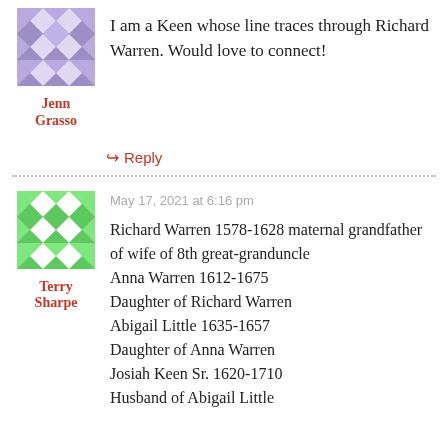[Figure (illustration): Purple geometric quilt-pattern avatar icon for user Jenn Grasso]
Jenn Grasso
I am a Keen whose line traces through Richard Warren. Would love to connect!
↳ Reply
[Figure (illustration): Green geometric quilt-pattern avatar icon for user Terry Sharpe]
May 17, 2021 at 6:16 pm
Terry Sharpe
Richard Warren 1578-1628 maternal grandfather of wife of 8th great-granduncle
Anna Warren 1612-1675
Daughter of Richard Warren
Abigail Little 1635-1657
Daughter of Anna Warren
Josiah Keen Sr. 1620-1710
Husband of Abigail Little